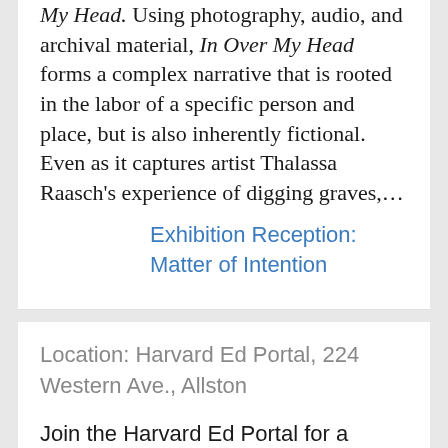My Head. Using photography, audio, and archival material, In Over My Head forms a complex narrative that is rooted in the labor of a specific person and place, but is also inherently fictional. Even as it captures artist Thalassa Raasch's experience of digging graves,…
Exhibition Reception: Matter of Intention
Location: Harvard Ed Portal, 224 Western Ave., Allston
Join the Harvard Ed Portal for a reception celebrating the latest